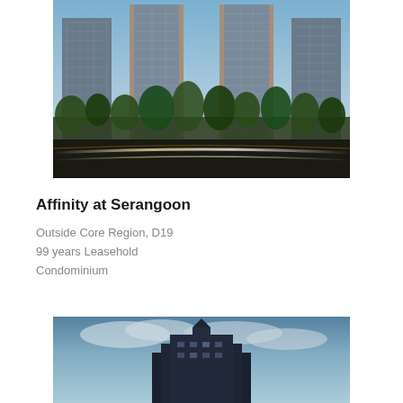[Figure (photo): Exterior rendering of Affinity at Serangoon condominium towers at night with trees and light trails in foreground]
Affinity at Serangoon
Outside Core Region, D19
99 years Leasehold
Condominium
[Figure (photo): Partial exterior photo of a building against a blue sky, partially cut off at bottom of page]